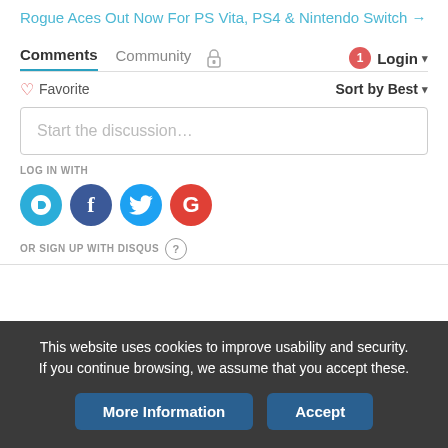Rogue Aces Out Now For PS Vita, PS4 & Nintendo Switch →
Comments  Community  🔒  1  Login ▾
♡ Favorite    Sort by Best ▾
Start the discussion…
LOG IN WITH
[Figure (infographic): Four social login buttons: Disqus (D, blue circle), Facebook (f, dark blue circle), Twitter (bird, light blue circle), Google (G, red circle)]
OR SIGN UP WITH DISQUS (?)
This website uses cookies to improve usability and security. If you continue browsing, we assume that you accept these.